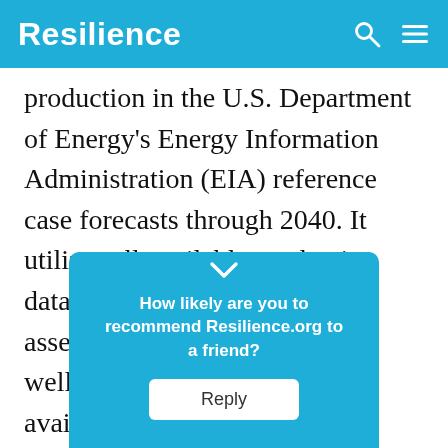Resilience
production in the U.S. Department of Energy's Energy Information Administration (EIA) reference case forecasts through 2040. It utilizes all available production data for the plays analyzed, and assesses historical production, well- and field-decline rates, available drilling locations, and well-quality trends … es within … produ … on